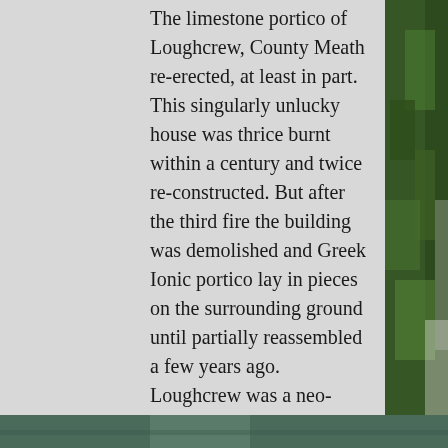The limestone portico of Loughcrew, County Meath re-erected, at least in part. This singularly unlucky house was thrice burnt within a century and twice re-constructed. But after the third fire the building was demolished and Greek Ionic portico lay in pieces on the surrounding ground until partially reassembled a few years ago. Loughcrew was a neo-classical house designed by Charles Robert Cockerell in the early 1820s for the Naper family. It was always an exceptionally severe looking building, and as has been noted, recalled a courthouse rather than a residence. Even its architect judged the finished work ‘very plain, too bald’, whereas what remains of the portico is wonderfully evocative and might almost serve as a symbol for all the other ruined country houses in Ireland.
[Figure (photo): Partial view of green foliage on the right side and a photograph strip at the bottom of the page.]